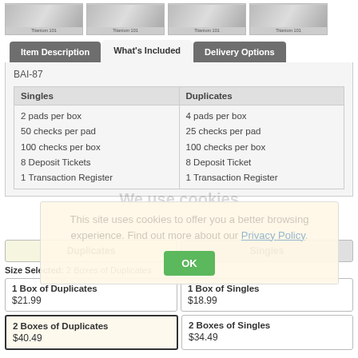[Figure (photo): Four check design thumbnail images in a horizontal strip]
| Item Description | What's Included | Delivery Options |
| --- | --- | --- |
BAI-87
| Singles | Duplicates |
| --- | --- |
| 2 pads per box
50 checks per pad
100 checks per box
8 Deposit Tickets
1 Transaction Register | 4 pads per box
25 checks per pad
100 checks per box
8 Deposit Ticket
1 Transaction Register |
We use cookies
This site uses cookies to offer you a better browsing experience. Find out more about our Privacy Policy.
| Duplicates | Singles |
| --- | --- |
Size Selected: 2 Boxes of Duplicates
| 1 Box of Duplicates
$21.99 | 1 Box of Singles
$18.99 |
| 2 Boxes of Duplicates
$40.49 | 2 Boxes of Singles
$34.49 |